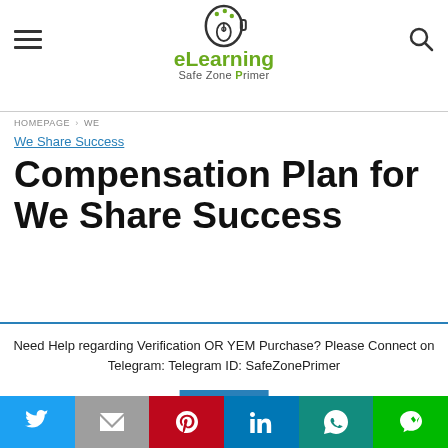eLearning Safe Zone Primer
HOMEPAGE > WE
We Share Success
Compensation Plan for We Share Success
Need Help regarding Verification OR YEM Purchase? Please Connect on Telegram: Telegram ID: SafeZonePrimer
Hide